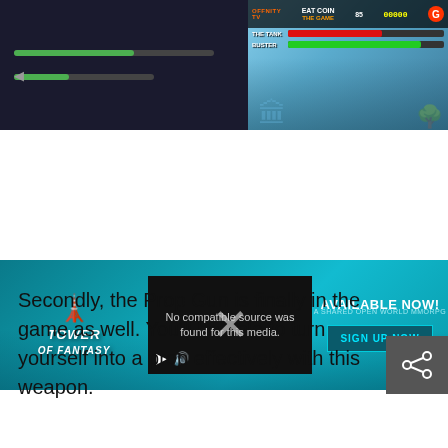[Figure (screenshot): Game screenshot showing progress bars on left and fighting game HUD on right with health bars, score, and arena background]
[Figure (screenshot): Tower of Fantasy advertisement banner with video player showing 'No compatible source was found for this media.' and AVAILABLE NOW! with SIGN UP NOW button]
Secondly, the Prop Gun is finally in the game as well. You'll be able to turn yourself into a prop effectively with this weapon.
[Figure (screenshot): Tower of Fantasy advertisement banner with video player showing 'No compatible source was found for this media.' and AVAILABLE NOW! with SIGN UP NOW button (second instance)]